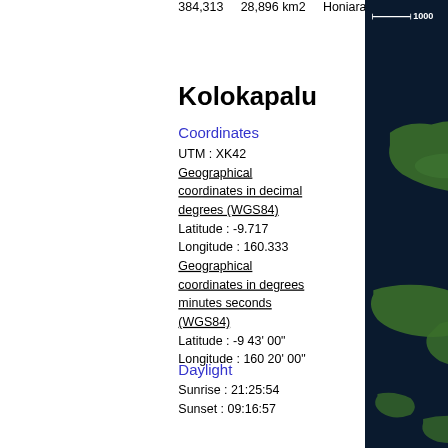384,313   28,896 km2   Honiara
Is de (S
Kolokapalu
Coordinates
UTM : XK42
Geographical coordinates in decimal degrees (WGS84)
Latitude : -9.717
Longitude : 160.333
Geographical coordinates in degrees minutes seconds (WGS84)
Latitude : -9 43' 00"
Longitude : 160 20' 00"
Daylight
Sunrise : 21:25:54
Sunset : 09:16:57
[Figure (map): Satellite/topographic map showing islands with dark navy background and green landmasses, with a scale bar showing 1000 units in the top left corner]